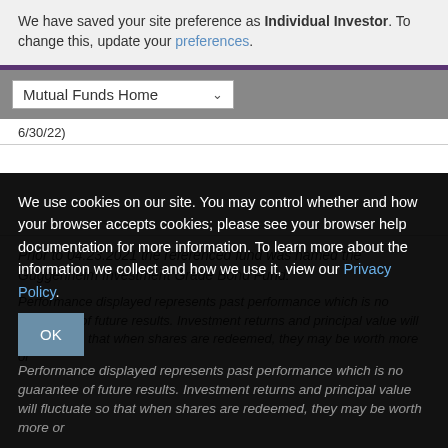We have saved your site preference as Individual Investor. To change this, update your preferences.
Mutual Funds Home
6/30/22)
Prior to 04.23.2021 the referenced fund was named the Guggenheim Investment Grade Bond Fund.
We use cookies on our site. You may control whether and how your browser accepts cookies; please see your browser help documentation for more information. To learn more about the information we collect and how we use it, view our Privacy Policy.
Performance displayed represents past performance which is no guarantee of future results. Investment returns and principal value will fluctuate so that when shares are redeemed, they may be worth more or